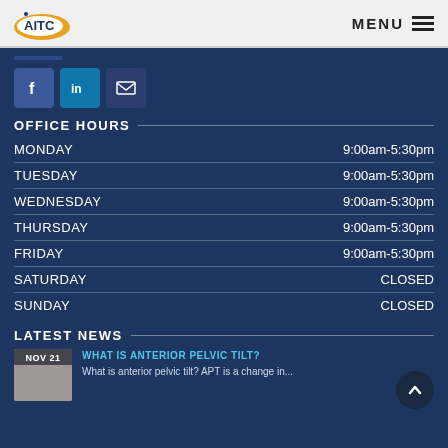AITC | MENU
[Figure (logo): AITC logo with oval shape]
[Figure (infographic): Social media icons: Facebook, LinkedIn, Email]
OFFICE HOURS
| Day | Hours |
| --- | --- |
| MONDAY | 9:00am-5:30pm |
| TUESDAY | 9:00am-5:30pm |
| WEDNESDAY | 9:00am-5:30pm |
| THURSDAY | 9:00am-5:30pm |
| FRIDAY | 9:00am-5:30pm |
| SATURDAY | CLOSED |
| SUNDAY | CLOSED |
LATEST NEWS
WHAT IS ANTERIOR PELVIC TILT?
What is anterior pelvic tilt? APT is a change in...